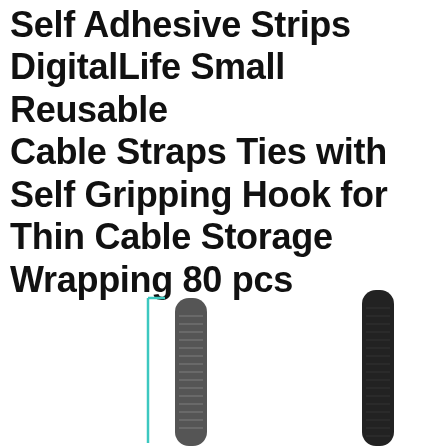DigitalLife Small Reusable Cable Straps Ties with Self Gripping Hook for Thin Cable Storage Wrapping 80 pcs
[Figure (photo): Two cable straps/ties shown vertically — one grey/dark with a teal bracket on the left, one solid black on the right. Both are narrow elongated strips with rounded tops.]